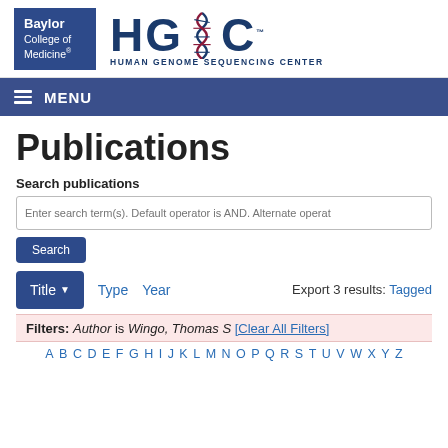[Figure (logo): Baylor College of Medicine and HGSC Human Genome Sequencing Center logos]
MENU navigation bar
Publications
Search publications
Enter search term(s). Default operator is AND. Alternate operator
Search button
Title  Type  Year  Export 3 results: Tagged
Filters: Author is Wingo, Thomas S [Clear All Filters]
A B C D E F G H I J K L M N O P Q R S T U V W X Y Z